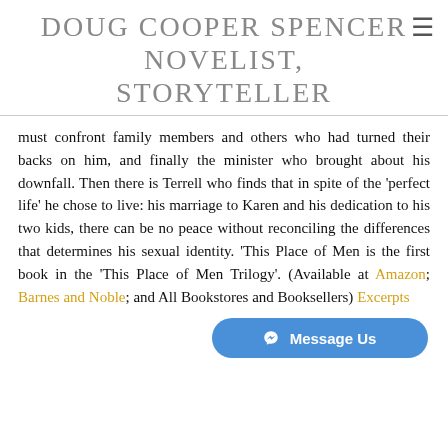DOUG COOPER SPENCER NOVELIST, STORYTELLER
must confront family members and others who had turned their backs on him, and finally the minister who brought about his downfall. Then there is Terrell who finds that in spite of the 'perfect life' he chose to live: his marriage to Karen and his dedication to his two kids, there can be no peace without reconciling the differences that determines his sexual identity. 'This Place of Men is the first book in the 'This Place of Men Trilogy'. (Available at Amazon; Barnes and Noble; and All Bookstores and Booksellers) Excerpts